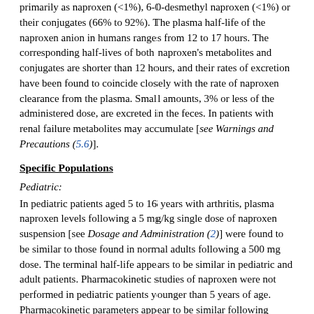primarily as naproxen (<1%), 6-0-desmethyl naproxen (<1%) or their conjugates (66% to 92%). The plasma half-life of the naproxen anion in humans ranges from 12 to 17 hours. The corresponding half-lives of both naproxen's metabolites and conjugates are shorter than 12 hours, and their rates of excretion have been found to coincide closely with the rate of naproxen clearance from the plasma. Small amounts, 3% or less of the administered dose, are excreted in the feces. In patients with renal failure metabolites may accumulate [see Warnings and Precautions (5.6)].
Specific Populations
Pediatric:
In pediatric patients aged 5 to 16 years with arthritis, plasma naproxen levels following a 5 mg/kg single dose of naproxen suspension [see Dosage and Administration (2)] were found to be similar to those found in normal adults following a 500 mg dose. The terminal half-life appears to be similar in pediatric and adult patients. Pharmacokinetic studies of naproxen were not performed in pediatric patients younger than 5 years of age. Pharmacokinetic parameters appear to be similar following administration of naproxen suspension or tablets in pediatric patients.
Geriatric:
Studies indicate that although total plasma concentration of